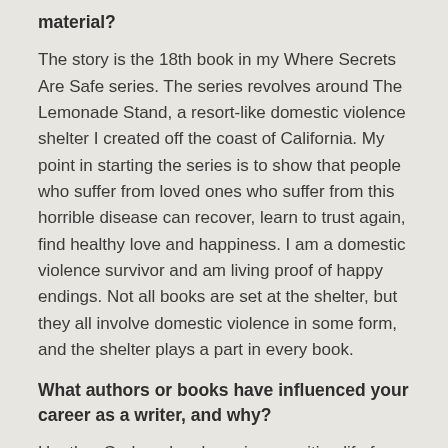material?
The story is the 18th book in my Where Secrets Are Safe series. The series revolves around The Lemonade Stand, a resort-like domestic violence shelter I created off the coast of California. My point in starting the series is to show that people who suffer from loved ones who suffer from this horrible disease can recover, learn to trust again, find healthy love and happiness. I am a domestic violence survivor and am living proof of happy endings. Not all books are set at the shelter, but they all involve domestic violence in some form, and the shelter plays a part in every book.
What authors or books have influenced your career as a writer, and why?
Heather Graham has been in my writing life for as long as I can remember, but her writing is life-giving, something